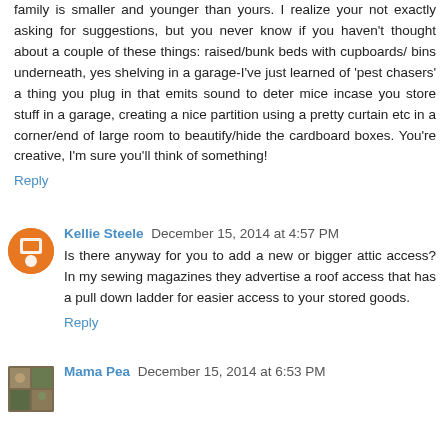family is smaller and younger than yours. I realize your not exactly asking for suggestions, but you never know if you haven't thought about a couple of these things: raised/bunk beds with cupboards/ bins underneath, yes shelving in a garage-I've just learned of 'pest chasers' a thing you plug in that emits sound to deter mice incase you store stuff in a garage, creating a nice partition using a pretty curtain etc in a corner/end of large room to beautify/hide the cardboard boxes. You're creative, I'm sure you'll think of something!
Reply
Kellie Steele  December 15, 2014 at 4:57 PM
Is there anyway for you to add a new or bigger attic access? In my sewing magazines they advertise a roof access that has a pull down ladder for easier access to your stored goods.
Reply
Mama Pea  December 15, 2014 at 6:53 PM